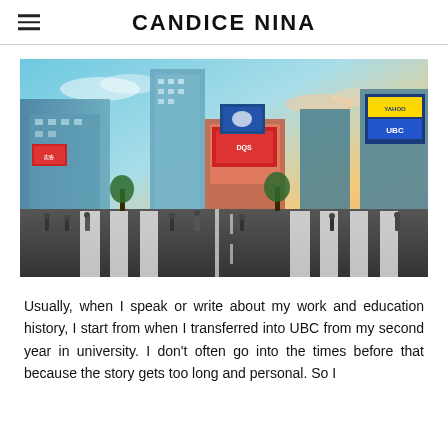CANDICE NINA
[Figure (photo): Aerial/street-level view of a busy urban crossing in Tokyo (Shibuya Crossing) with crowds of pedestrians, tall buildings covered in advertising billboards, and a colorful sky at dusk.]
Usually, when I speak or write about my work and education history, I start from when I transferred into UBC from my second year in university. I don't often go into the times before that because the story gets too long and personal. So I